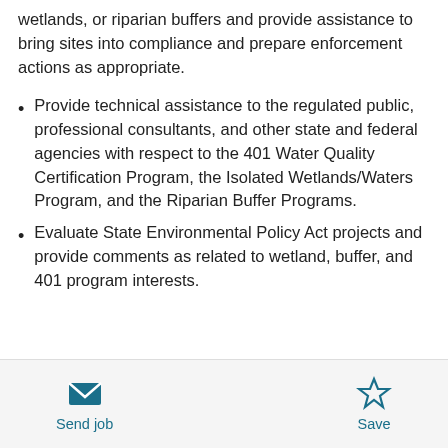wetlands, or riparian buffers and provide assistance to bring sites into compliance and prepare enforcement actions as appropriate.
Provide technical assistance to the regulated public, professional consultants, and other state and federal agencies with respect to the 401 Water Quality Certification Program, the Isolated Wetlands/Waters Program, and the Riparian Buffer Programs.
Evaluate State Environmental Policy Act projects and provide comments as related to wetland, buffer, and 401 program interests.
Send job   Save